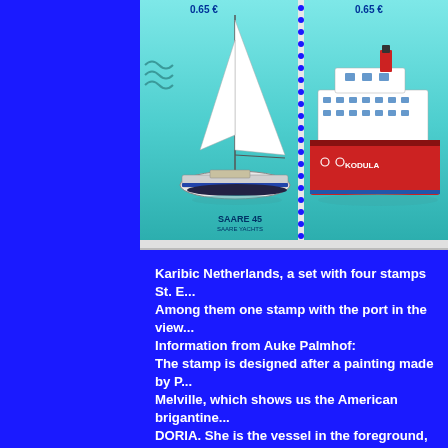[Figure (illustration): Two postage stamps side by side showing boats. Left stamp shows a white sailing yacht labeled SAARE 45 with price 0.65 €, right stamp shows a red and white ferry labeled KODULA with price 0.65 €. Stamps have perforated edges and teal/turquoise water background.]
Karibic Netherlands, a set with four stamps St. E... Among them one stamp with the port in the view... Information from Auke Palmhof: The stamp is designed after a painting made by P... Melville, which shows us the American brigantine... DORIA. She is the vessel in the foreground, the v... left not identified. On 16 November 1776 the brigantine ANDREW D... bearing at her masthead the flag of the Continent... arrived at St. Eustatius, and on coming to in the h... a salute which by orders of Governor de Graaf, w... by the fort, with an honor salute of 13 guns.